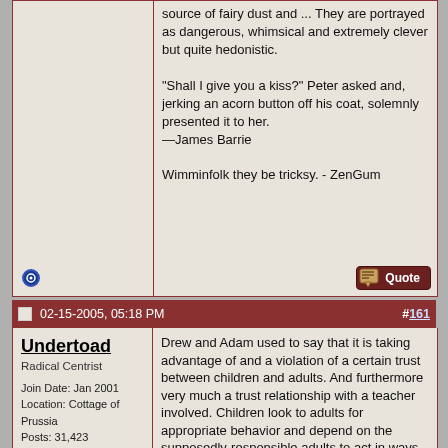source of fairy dust and ... They are portrayed as dangerous, whimsical and extremely clever but quite hedonistic.

"Shall I give you a kiss?" Peter asked and, jerking an acorn button off his coat, solemnly presented it to her.
—James Barrie

Wimminfolk they be tricksy. - ZenGum
02-15-2005, 05:18 PM  #161
Undertoad
Radical Centrist
Join Date: Jan 2001
Location: Cottage of Prussia
Posts: 31,423
Drew and Adam used to say that it is taking advantage of and a violation of a certain trust between children and adults. And furthermore very much a trust relationship with a teacher involved. Children look to adults for appropriate behavior and depend on the supposedly-responsible adults to act in ways that do not prey on their weaknesses.